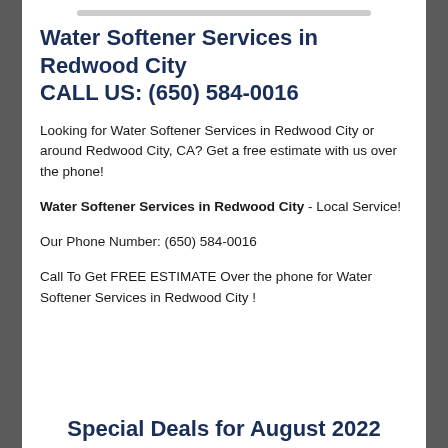Water Softener Services in Redwood City CALL US: (650) 584-0016
Looking for Water Softener Services in Redwood City or around Redwood City, CA? Get a free estimate with us over the phone!
Water Softener Services in Redwood City - Local Service!
Our Phone Number: (650) 584-0016
Call To Get FREE ESTIMATE Over the phone for Water Softener Services in Redwood City !
Special Deals for August 2022